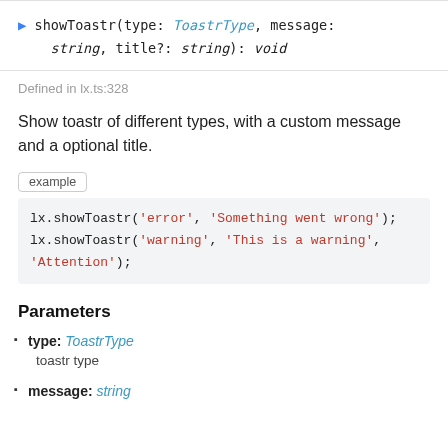showToastr(type: ToastrType, message: string, title?: string): void
Defined in lx.ts:328
Show toastr of different types, with a custom message and a optional title.
example
lx.showToastr('error', 'Something went wrong');
lx.showToastr('warning', 'This is a warning', 'Attention');
Parameters
type: ToastrType
toastr type
message: string